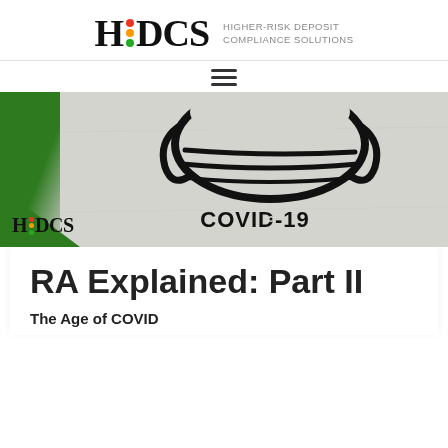HDCS — HIGHER-RISK DEPOSIT COMPLIANCE SOLUTIONS
[Figure (illustration): Hamburger menu icon (three horizontal lines)]
[Figure (photo): Hero image showing graffiti of a face mask with 'COVID-19' text, with a green accent on the left side and HDCS logo overlay at bottom left]
RA Explained: Part II
The Age of COVID